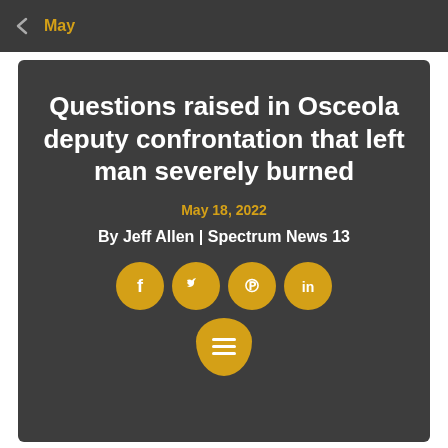May
Questions raised in Osceola deputy confrontation that left man severely burned
May 18, 2022
By Jeff Allen | Spectrum News 13